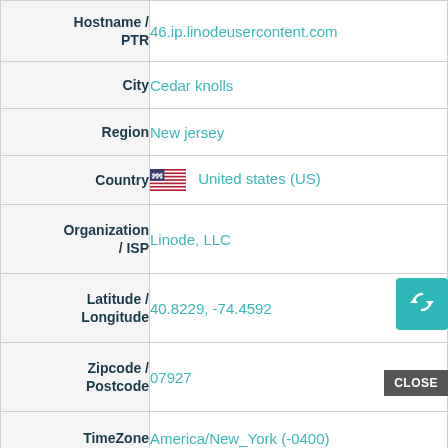| Field | Value |
| --- | --- |
| Hostname / PTR | 46.ip.linodeusercontent.com |
| City | Cedar knolls |
| Region | New jersey |
| Country | United states (US) |
| Organization / ISP | Linode, LLC |
| Latitude / Longitude | 40.8229, -74.4592 |
| Zipcode / Postcode | 07927 |
| TimeZone | America/New_York (-0400) |
| Calling Code | +1 |